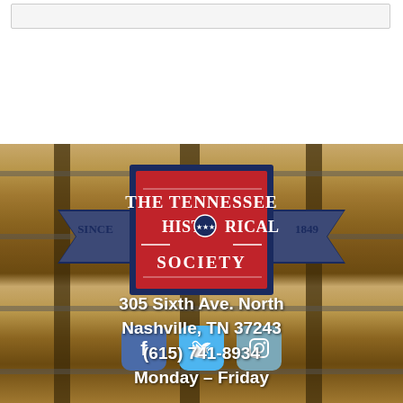[Figure (logo): Tennessee Historical Society logo — red rectangle with dark navy border, white text reading THE TENNESSEE HISTORICAL SOCIETY with a three-star circle emblem replacing the O in HISTORICAL; flanked by banner ribbons reading SINCE on left and 1849 on right]
[Figure (infographic): Three social media icons: Facebook (dark blue rounded square with f), Twitter (light blue rounded square with bird), Instagram (grey-blue rounded square with camera outline)]
305 Sixth Ave. North
Nashville, TN 37243
(615) 741-8934
Monday – Friday